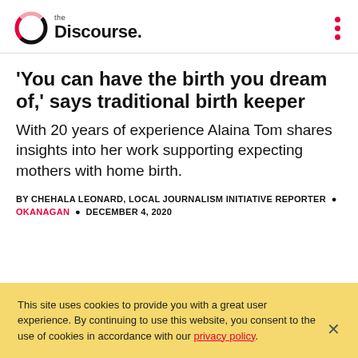the Discourse.
'You can have the birth you dream of,' says traditional birth keeper
With 20 years of experience Alaina Tom shares insights into her work supporting expecting mothers with home birth.
BY CHEHALA LEONARD, LOCAL JOURNALISM INITIATIVE REPORTER • OKANAGAN • DECEMBER 4, 2020
This site uses cookies to provide you with a great user experience. By continuing to use this website, you consent to the use of cookies in accordance with our privacy policy.